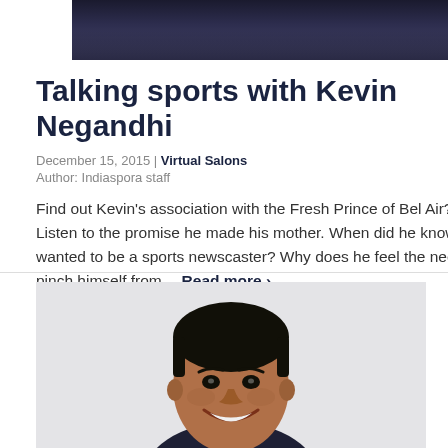[Figure (photo): Dark photo showing people at an event, partially cropped at top of page]
Talking sports with Kevin Negandhi
December 15, 2015 | Virtual Salons
Author: Indiaspora staff
Find out Kevin's association with the Fresh Prince of Bel Air? Listen to the promise he made his mother. When did he know he wanted to be a sports newscaster? Why does he feel the need to pinch himself from... Read more >
[Figure (photo): Portrait photo of Kevin Negandhi, an Indian-American man in a suit, smiling]